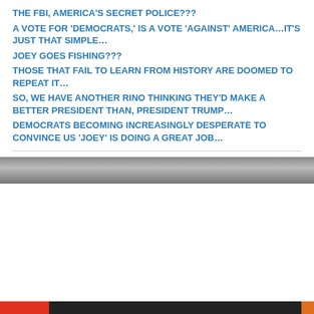THE FBI, AMERICA'S SECRET POLICE???
A VOTE FOR 'DEMOCRATS,' IS A VOTE 'AGAINST' AMERICA…IT'S JUST THAT SIMPLE…
JOEY GOES FISHING???
THOSE THAT FAIL TO LEARN FROM HISTORY ARE DOOMED TO REPEAT IT…
SO, WE HAVE ANOTHER RINO THINKING THEY'D MAKE A BETTER PRESIDENT THAN, PRESIDENT TRUMP…
DEMOCRATS BECOMING INCREASINGLY DESPERATE TO CONVINCE US 'JOEY' IS DOING A GREAT JOB…
[Figure (photo): Grayscale landscape/sky image strip]
Privacy & Cookies: This site uses cookies. By continuing to use this website, you agree to their use.
To find out more, including how to control cookies, see here: Cookie Policy
Close and accept